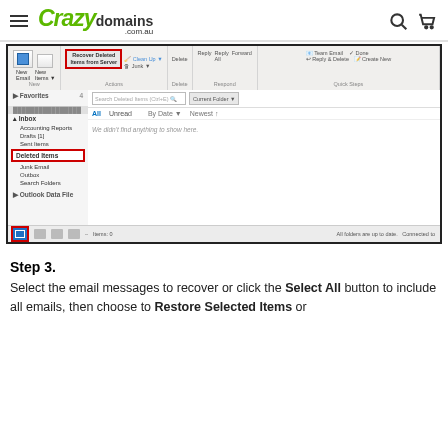Crazy domains .com.au
[Figure (screenshot): Microsoft Outlook screenshot showing the ribbon with 'Recover Deleted Items from Server' button highlighted in red, the folder pane with 'Deleted Items' highlighted in red, and the main panel showing empty deleted items.]
Step 3.
Select the email messages to recover or click the Select All button to include all emails, then choose to Restore Selected Items or